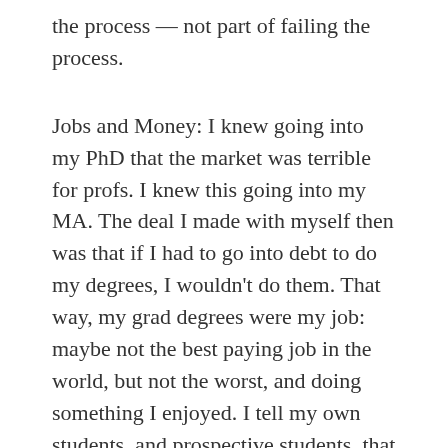the process — not part of failing the process.
Jobs and Money: I knew going into my PhD that the market was terrible for profs. I knew this going into my MA. The deal I made with myself then was that if I had to go into debt to do my degrees, I wouldn't do them. That way, my grad degrees were my job: maybe not the best paying job in the world, but not the worst, and doing something I enjoyed. I tell my own students, and prospective students, that they shouldn't do these degrees (esp. the PhD) if it costs them money–you can't go in for that many years and just hope for a payoff. At worst, with no job in hand, I would have come out of my PhD like any other worker shifting from one job to another. Not a huge amount of savings, but not